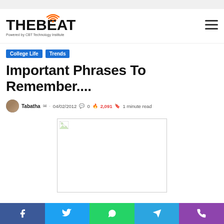THE BEAT – Powered by CBT Technology Institute
College Life
Trends
Important Phrases To Remember....
Tabatha · 04/02/2012 · 0 · 2,091 · 1 minute read
[Figure (photo): Article featured image (broken/placeholder)]
Social share buttons: Facebook, Twitter, WhatsApp, Telegram, Phone